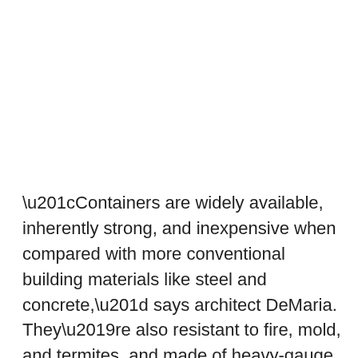“Containers are widely available, inherently strong, and inexpensive when compared with more conventional building materials like steel and concrete,” says architect DeMaria. They’re also resistant to fire, mold, and termites, and made of heavy-gauge steel, a material meant to last centuries.